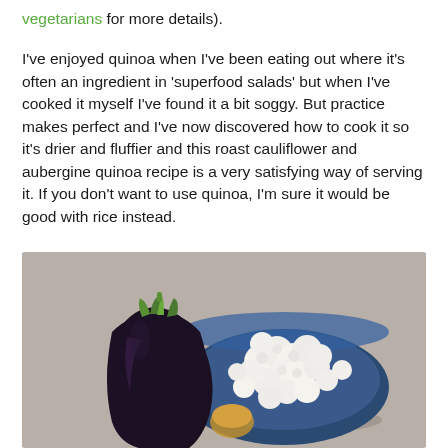vegetarians for more details).
I've enjoyed quinoa when I've been eating out where it's often an ingredient in 'superfood salads' but when I've cooked it myself I've found it a bit soggy. But practice makes perfect and I've now discovered how to cook it so it's drier and fluffier and this roast cauliflower and aubergine quinoa recipe is a very satisfying way of serving it. If you don't want to use quinoa, I'm sure it would be good with rice instead.
[Figure (photo): Photo of an eggplant/aubergine and a blue bowl filled with cauliflower florets, placed on a grey linen surface]